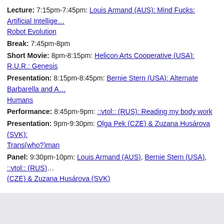Lecture: 7:15pm-7:45pm: Louis Armand (AUS): Mind Fucks: Artificial Intelligence & Robot Evolution
Break: 7:45pm-8pm
Short Movie: 8pm-8:15pm: Helicon Arts Cooperative (USA): R.U.R.: Genesis
Presentation: 8:15pm-8:45pm: Bernie Stern (USA): Alternate Barbarella and A Humans
Performance: 8:45pm-9pm: ::vtol:: (RUS): Reading my body work
Presentation: 9pm-9:30pm: Olga Pek (CZE) & Zuzana Husárova (SVK): Trans(who?)man
Panel: 9:30pm-10pm: Louis Armand (AUS), Bernie Stern (USA), ::vtol:: (RUS) (CZE) & Zuzana Husárova (SVK)
NB!: Please note that this is a preliminary program and subject to change.
[image source: Anton Chisitiakov and Mikhail Dmitriev, NTK]
[source: Vive Les Robots!]